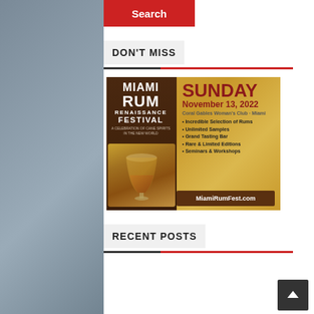Search
DON'T MISS
[Figure (photo): Miami Rum Renaissance Festival advertisement. Shows dark brown panel on left with festival logo text (MIAMI RUM RENAISSANCE FESTIVAL, A Celebration of Cane Spirits in the New World) and a glass of rum below. Gold/tan background on right with text: SUNDAY November 13, 2022, Coral Gables Woman's Club - Miami, bullet list: Incredible Selection of Rums, Unlimited Samples, Grand Tasting Bar, Rare & Limited Editions, Seminars & Workshops. Brown button at bottom: MiamiRumFest.com]
RECENT POSTS